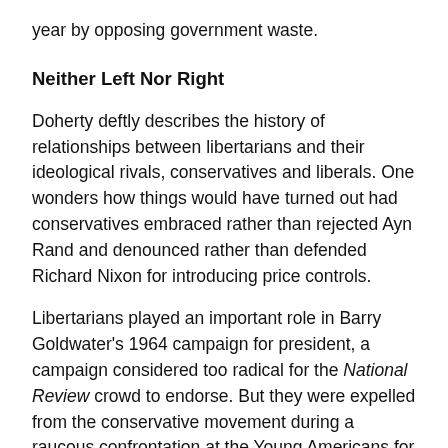year by opposing government waste.
Neither Left Nor Right
Doherty deftly describes the history of relationships between libertarians and their ideological rivals, conservatives and liberals. One wonders how things would have turned out had conservatives embraced rather than rejected Ayn Rand and denounced rather than defended Richard Nixon for introducing price controls.
Libertarians played an important role in Barry Goldwater's 1964 campaign for president, a campaign considered too radical for the National Review crowd to endorse. But they were expelled from the conservative movement during a raucous confrontation at the Young Americans for Freedom's 1969 Labor Day-weekend national convention in St. Louis.
A few years later the Libertarian Party was born, in David Nolan's living room in Denver. In 1972, the LP won few votes for its presidential ticket, John Hospers and Toni Nathan, but it did